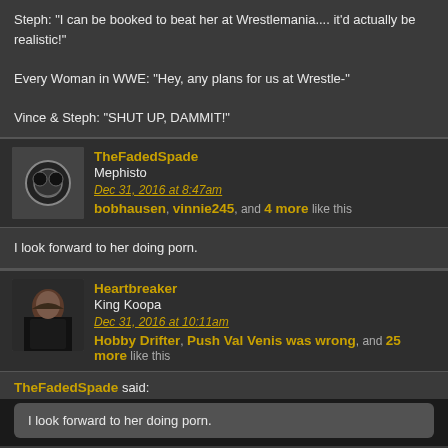Steph: "I can be booked to beat her at Wrestlemania.... it'd actually be realistic!"

Every Woman in WWE: "Hey, any plans for us at Wrestle-"

Vince & Steph: "SHUT UP, DAMMIT!"
TheFadedSpade | Mephisto | Dec 31, 2016 at 8:47am | bobhausen, vinnie245, and 4 more like this
I look forward to her doing porn.
Heartbreaker | King Koopa | Dec 31, 2016 at 10:11am | Hobby Drifter, Push Val Venis was wrong, and 25 more like this
TheFadedSpade said:
I look forward to her doing porn.
Oh shut up.